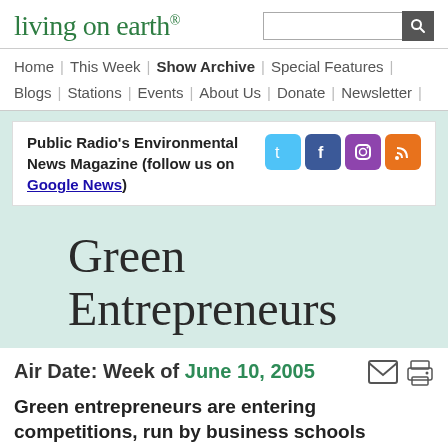living on earth®
Public Radio's Environmental News Magazine (follow us on Google News)
Green Entrepreneurs
Air Date: Week of June 10, 2005
Green entrepreneurs are entering competitions, run by business schools